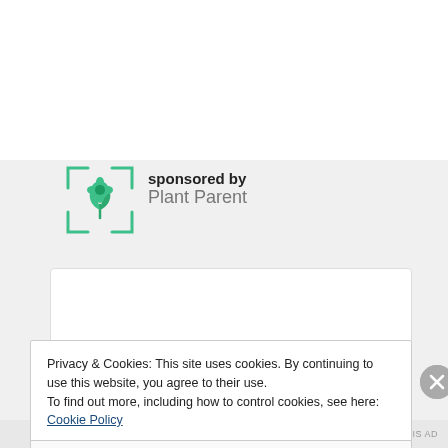[Figure (logo): Plant Parent app logo: green plant/leaf icon inside a rounded square bracket frame, teal/green color]
sponsored by
Plant Parent
[Figure (other): White advertisement box area]
Privacy & Cookies: This site uses cookies. By continuing to use this website, you agree to their use.
To find out more, including how to control cookies, see here: Cookie Policy
Close and accept